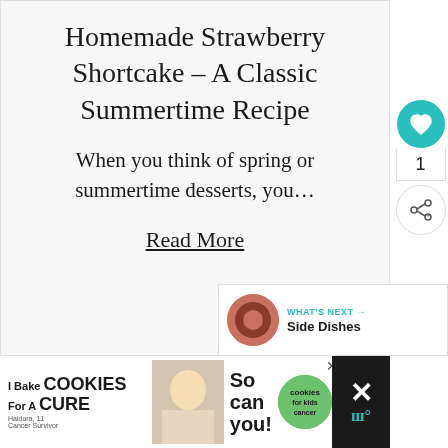Homemade Strawberry Shortcake – A Classic Summertime Recipe
When you think of spring or summertime desserts, you…
Read More
[Figure (infographic): What's Next arrow with thumbnail image and Side Dishes label]
[Figure (infographic): I Bake Cookies For A Cure advertisement banner with woman photo and cookies for kids cancer logo]